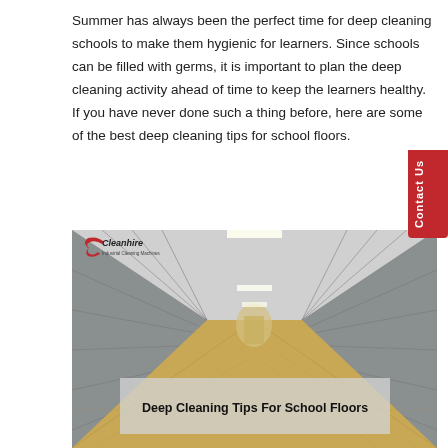Summer has always been the perfect time for deep cleaning schools to make them hygienic for learners. Since schools can be filled with germs, it is important to plan the deep cleaning activity ahead of time to keep the learners healthy. If you have never done such a thing before, here are some of the best deep cleaning tips for school floors.
[Figure (photo): Photo of a school corridor with metal lockers on both sides, receding into the distance, with fluorescent ceiling lights. A Cleanhire Industrial Cleaning Machines logo is visible in the top-left of the photo. An overlay text box reads 'Deep Cleaning Tips For School Floors'.]